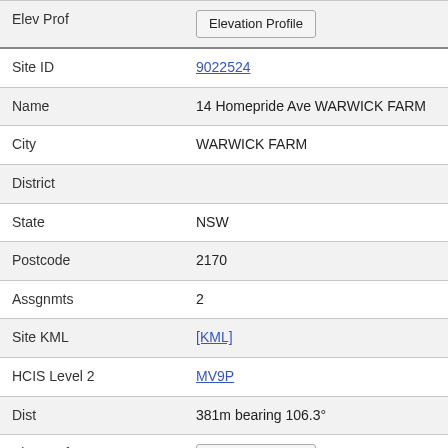| Field | Value |
| --- | --- |
| Elev Prof | Elevation Profile |
| Site ID | 9022524 |
| Name | 14 Homepride Ave WARWICK FARM |
| City | WARWICK FARM |
| District |  |
| State | NSW |
| Postcode | 2170 |
| Assgnmts | 2 |
| Site KML | [KML] |
| HCIS Level 2 | MV9P |
| Dist | 381m bearing 106.3° |
| Elev Prof | Elevation Profile |
| Site ID | 5125 |
| Name | Telstra Site Warwick Farm EC Homepride Ave LIVERPOOL |
| City | LIVERPOOL |
| District |  |